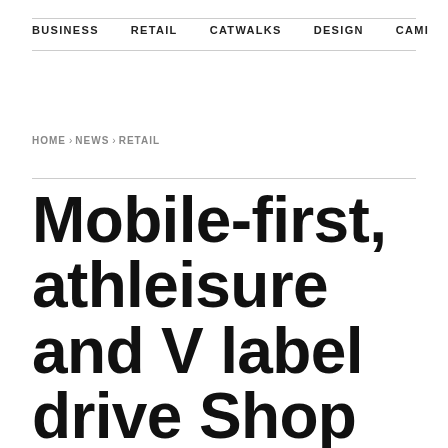BUSINESS   RETAIL   CATWALKS   DESIGN   CAMI >
HOME › NEWS › RETAIL
Mobile-first, athleisure and V label drive Shop Direct to record